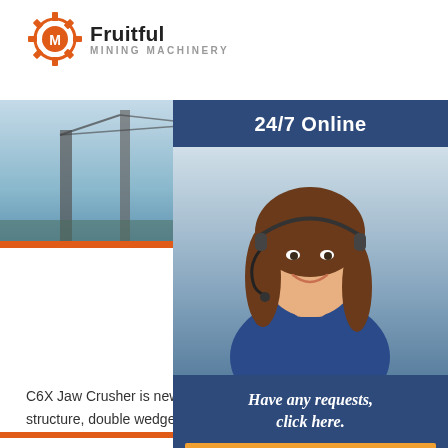[Figure (logo): Fruitful Mining Machinery logo with orange gear icon]
[Figure (photo): Industrial mining machinery banner photo showing conveyor structures against blue sky]
[Figure (illustration): Orange jaw crusher machine icon]
C6X Series Jaw Crusher
C6X Jaw Crusher is new equipment used for cr... abrasiveness stones. It is possess of detachable... welding structure, double wedge adjusting device, elastic limit
[Figure (photo): 24/7 Online customer support representative with headset, dark blue background panel with 'Have any requests, click here.' and Quotation button]